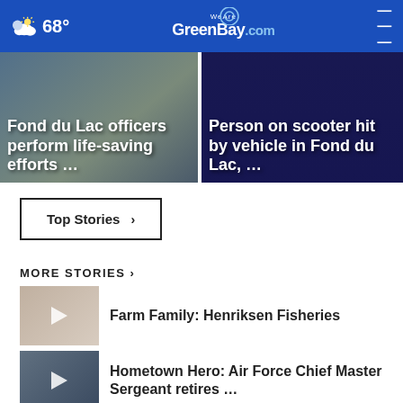68° WeAreGreenBay.com
[Figure (screenshot): Hero image left: Fond du Lac officers perform life-saving efforts ...]
[Figure (screenshot): Hero image right: Person on scooter hit by vehicle in Fond du Lac, ...]
Top Stories ›
MORE STORIES ›
Farm Family: Henriksen Fisheries
Hometown Hero: Air Force Chief Master Sergeant retires …
Will closure at large Midwest oil